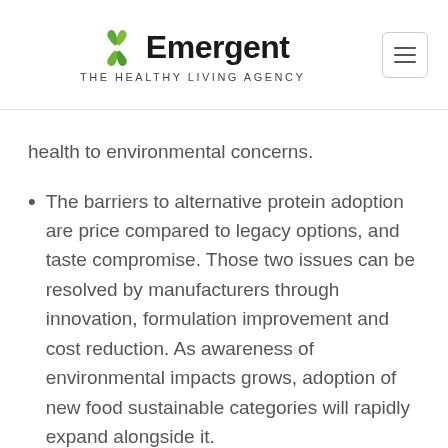Emergent — THE HEALTHY LIVING AGENCY
health to environmental concerns.
The barriers to alternative protein adoption are price compared to legacy options, and taste compromise. Those two issues can be resolved by manufacturers through innovation, formulation improvement and cost reduction. As awareness of environmental impacts grows, adoption of new food sustainable categories will rapidly expand alongside it.
Studies suggest a shift to alternative